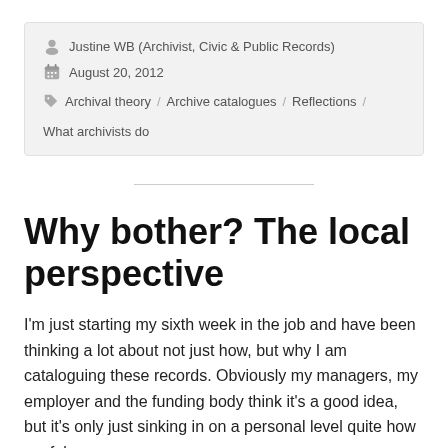Justine WB (Archivist, Civic & Public Records)
August 20, 2012
Archival theory / Archive catalogues / Reflections / What archivists do
Why bother? The local perspective
I'm just starting my sixth week in the job and have been thinking a lot about not just how, but why I am cataloguing these records. Obviously my managers, my employer and the funding body think it's a good idea, but it's only just sinking in on a personal level quite how useful